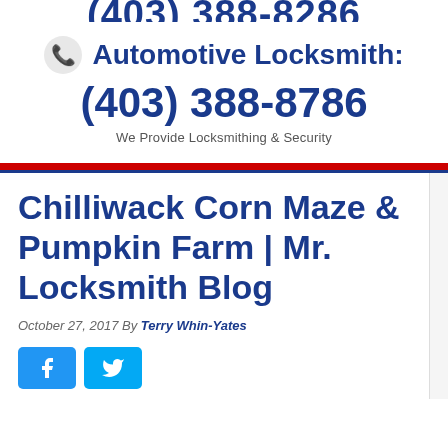(403) 388-8786 [partial, cut off at top]
Automotive Locksmith: (403) 388-8786
We Provide Locksmithing & Security
Chilliwack Corn Maze & Pumpkin Farm | Mr. Locksmith Blog
October 27, 2017 By Terry Whin-Yates
[Figure (other): Facebook and Twitter social share buttons]